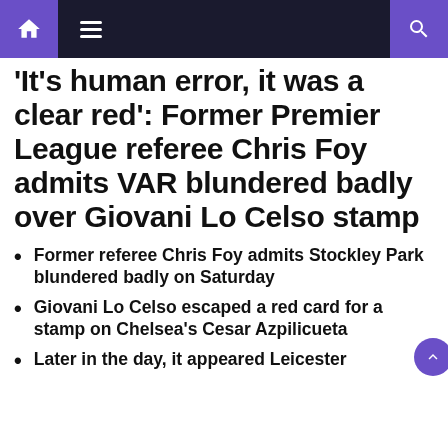Navigation bar with home, menu, and search icons
'It's human error, it was a clear red': Former Premier League referee Chris Foy admits VAR blundered badly over Giovani Lo Celso stamp
Former referee Chris Foy admits Stockley Park blundered badly on Saturday
Giovani Lo Celso escaped a red card for a stamp on Chelsea's Cesar Azpilicueta
Later in the day, it appeared Leicester